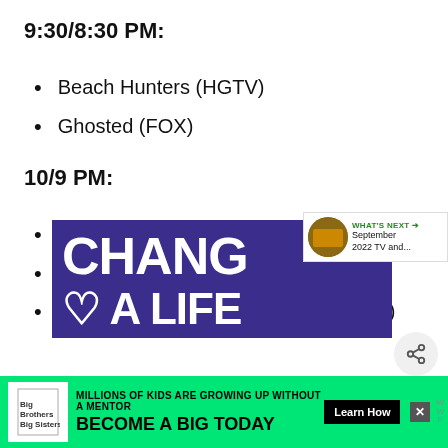9:30/8:30 PM:
Beach Hunters (HGTV)
Ghosted (FOX)
10/9 PM:
Animal Fight Night (Nat Geo Wild)
Bar Rescue (Paramount Network)
Breaking the Band: Van Halen (Reelz)
[Figure (photo): Purple promotional banner with 'CHANGE A LIFE' text in large bold white letters]
[Figure (advertisement): Big Brothers Big Sisters ad: 'MILLIONS OF KIDS ARE GROWING UP WITHOUT A MENTOR. BECOME A BIG TODAY' with Learn How button on green background]